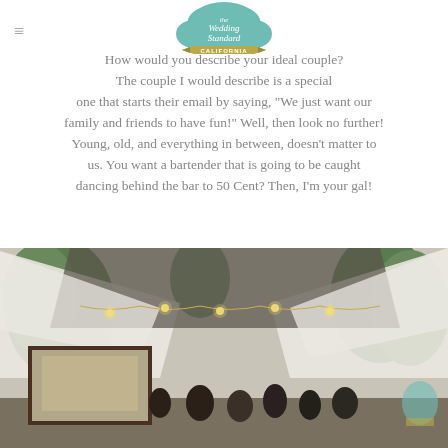[Figure (logo): The Wedding Standard California logo — a teal cloud shape with script text 'The Wedding Standard' and a gold banner reading 'CALIFORNIA']
How would you describe your ideal couple? The couple I would describe is a special one that starts their email by saying, "We just want our family and friends to have fun!" Well, then look no further! Young, old, and everything in between, doesn't matter to us. You want a bartender that is going to be caught dancing behind the bar to 50 Cent? Then, I'm your gal!
[Figure (photo): Outdoor wedding reception scene with white fabric canopy/tent draped overhead with string lights, guests mingling near a bar with a wooden frame, lush green trees in background]